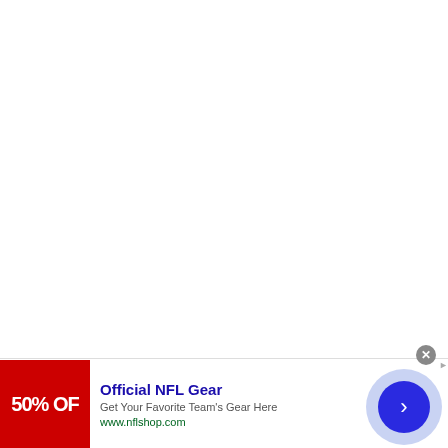[Figure (other): Large white blank area (main page content area, mostly empty/white)]
[Figure (other): Advertisement banner at bottom: NFL Shop ad with red '50% OFF' image thumbnail on left, text 'Official NFL Gear / Get Your Favorite Team's Gear Here / www.nflshop.com' in center, a close button (X) at top right corner, AdChoices arrow icon, and a large blue arrow button circle on the right.]